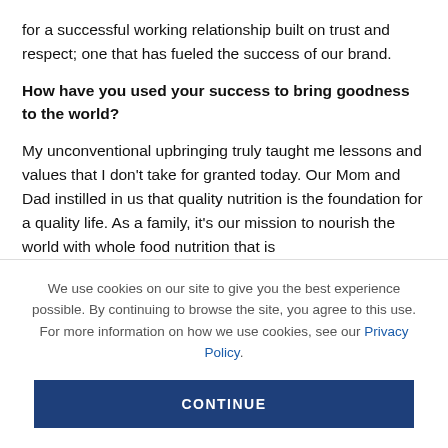for a successful working relationship built on trust and respect; one that has fueled the success of our brand.
How have you used your success to bring goodness to the world?
My unconventional upbringing truly taught me lessons and values that I don't take for granted today. Our Mom and Dad instilled in us that quality nutrition is the foundation for a quality life. As a family, it's our mission to nourish the world with whole food nutrition that is
We use cookies on our site to give you the best experience possible. By continuing to browse the site, you agree to this use. For more information on how we use cookies, see our Privacy Policy.
CONTINUE